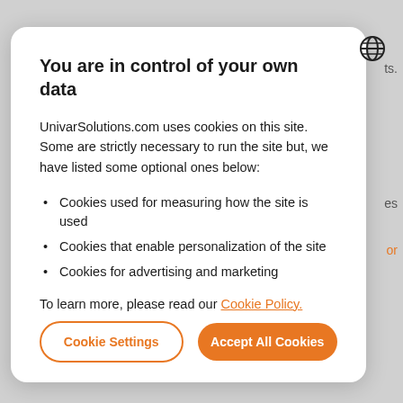You are in control of your own data
UnivarSolutions.com uses cookies on this site. Some are strictly necessary to run the site but, we have listed some optional ones below:
Cookies used for measuring how the site is used
Cookies that enable personalization of the site
Cookies for advertising and marketing
To learn more, please read our Cookie Policy.